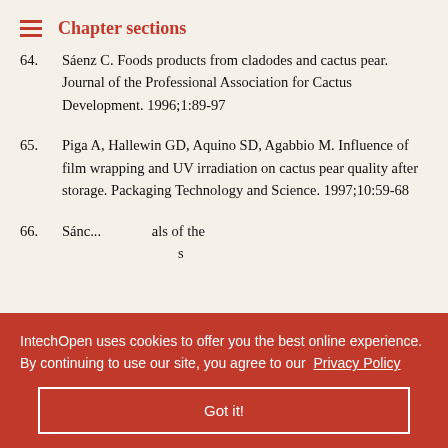Chapter sections
64. Sáenz C. Foods products from cladodes and cactus pear. Journal of the Professional Association for Cactus Development. 1996;1:89-97
65. Piga A, Hallewin GD, Aquino SD, Agabbio M. Influence of film wrapping and UV irradiation on cactus pear quality after storage. Packaging Technology and Science. 1997;10:59-68
66. [partially obscured] ...als of the ...s
67. ...Olivares LD, ...d processing ...-indica) ...
IntechOpen uses cookies to offer you the best online experience. By continuing to use our site, you agree to our Privacy Policy